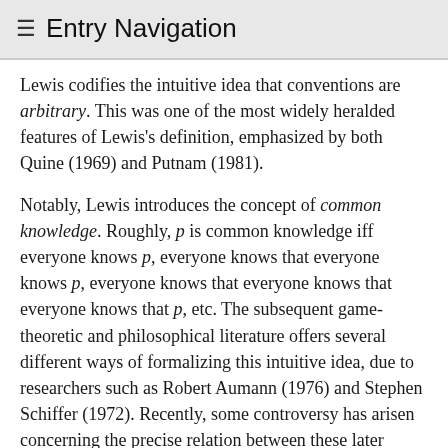≡ Entry Navigation
Lewis codifies the intuitive idea that conventions are arbitrary. This was one of the most widely heralded features of Lewis's definition, emphasized by both Quine (1969) and Putnam (1981).
Notably, Lewis introduces the concept of common knowledge. Roughly, p is common knowledge iff everyone knows p, everyone knows that everyone knows p, everyone knows that everyone knows that everyone knows that p, etc. The subsequent game-theoretic and philosophical literature offers several different ways of formalizing this intuitive idea, due to researchers such as Robert Aumann (1976) and Stephen Schiffer (1972). Recently, some controversy has arisen concerning the precise relation between these later formalizations and Lewis's own informal remarks. Robin Cubitt and Robert Sugden (2003) argue that Lewis's conception of common knowledge is radically different from the later formalizations, while Peter Vanderschraaf (1998) and Giacomo Sillari (2005) downplay the differences. See the